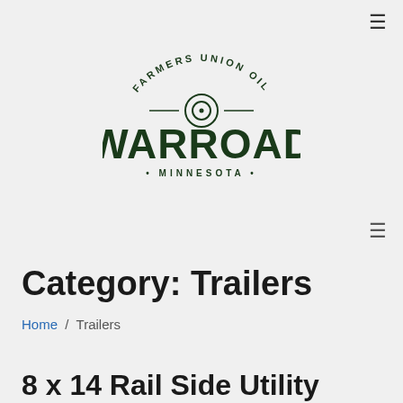[Figure (logo): Farmers Union Oil Co. Warroad Minnesota circular logo with arched text, concentric circle emblem, and bold WARROAD text]
Category: Trailers
Home / Trailers
8 x 14 Rail Side Utility 2,990#